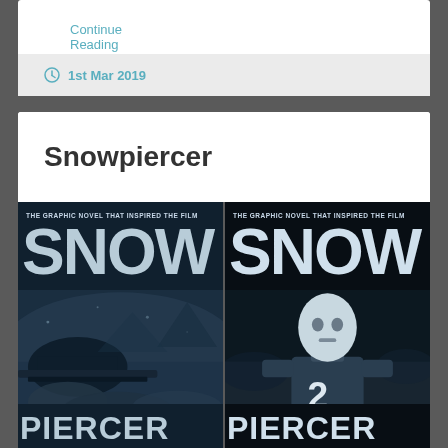Continue Reading →
1st Mar 2019
Snowpiercer
[Figure (photo): Two Snowpiercer graphic novel book covers side by side. Both are dark-toned with large bold white/light blue text. Left cover reads 'THE GRAPHIC NOVEL THAT INSPIRED THE FILM' at top, then 'SNOW' in very large letters and 'PIERCER' at the bottom, with a graphic scene of a snowy landscape with structures. Right cover has the same tagline, 'SNOW' and 'PIERCER' text, with a masked figure wearing the number 2.]